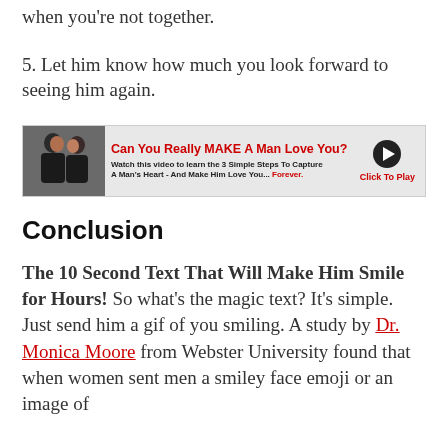when you're not together.
5. Let him know how much you look forward to seeing him again.
[Figure (infographic): Advertisement banner: 'Can You Really MAKE A Man Love You?' with couple image, play button, and 'Click To Play' text]
Conclusion
The 10 Second Text That Will Make Him Smile for Hours! So what's the magic text? It's simple. Just send him a gif of you smiling. A study by Dr. Monica Moore from Webster University found that when women sent men a smiley face emoji or an image of